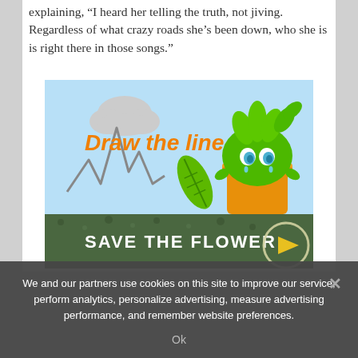explaining, “I heard her telling the truth, not jiving. Regardless of what crazy roads she’s been down, who she is is right there in those songs.”
[Figure (illustration): Illustrated advertisement image with light blue background showing text 'Draw the line' in orange, a cartoon green plant character sitting in an orange pot crying, a green leaf, a grey cloud, and a squiggly line graph. Lower portion shows dark green ground with text 'SAVE THE FLOWER' and a play button circle.]
We and our partners use cookies on this site to improve our service, perform analytics, personalize advertising, measure advertising performance, and remember website preferences.